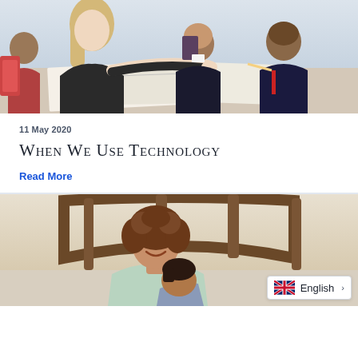[Figure (photo): A teacher or adult woman with blonde hair leaning over a table helping two school children with their work. Children are wearing dark school uniforms. Papers and notebooks on the table.]
11 May 2020
When We Use Technology
Read More
[Figure (photo): A smiling woman with curly brown hair sitting with a young boy, appearing to read or look at something together. A brown wooden headboard is visible in the background. A language switcher widget showing English with a UK flag is overlaid in the bottom right corner.]